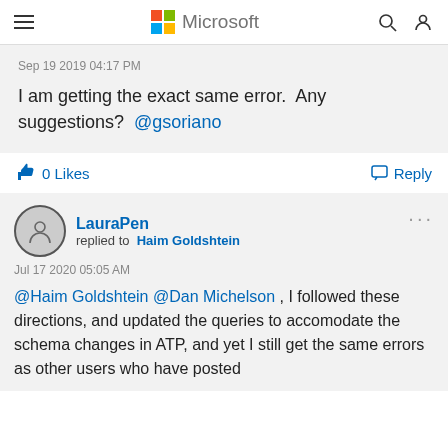Microsoft
Sep 19 2019 04:17 PM
I am getting the exact same error.  Any suggestions?  @gsoriano
0 Likes
Reply
LauraPen replied to Haim Goldshtein
Jul 17 2020 05:05 AM
@Haim Goldshtein @Dan Michelson , I followed these directions, and updated the queries to accomodate the schema changes in ATP, and yet I still get the same errors as other users who have posted